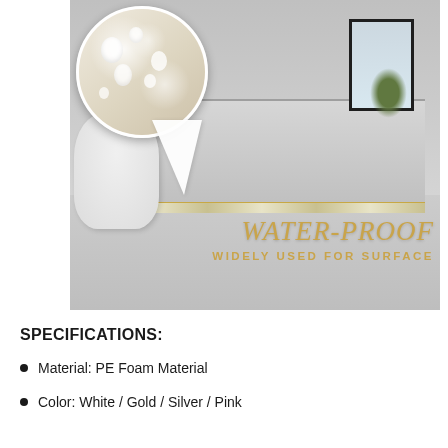[Figure (photo): Bathroom photo showing a bathtub, toilet, and window with a decorative border strip. A circular inset shows a close-up of the waterproof foam material with water droplets. Text overlay reads 'WATER-PROOF' and 'WIDELY USED FOR SURFACE' in gold/italic font.]
SPECIFICATIONS:
Material: PE Foam Material
Color: White / Gold / Silver / Pink